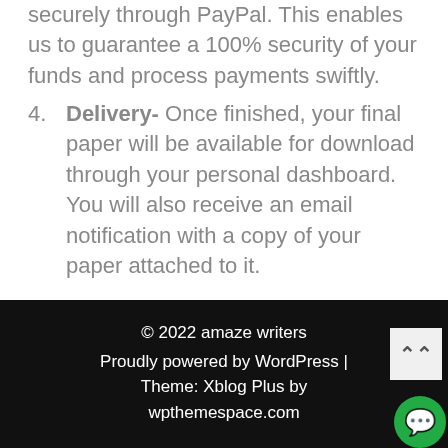securely through PayPal. This enables us to guarantee a 100% security of your funds and process payments swiftly.
4. Delivery- Once finished, your final paper will be available for download through your personal dashboard. You will also receive an email notification with a copy of your paper attached to it.
© 2022 amaze writers
Proudly powered by WordPress | Theme: Xblog Plus by wpthemespace.com